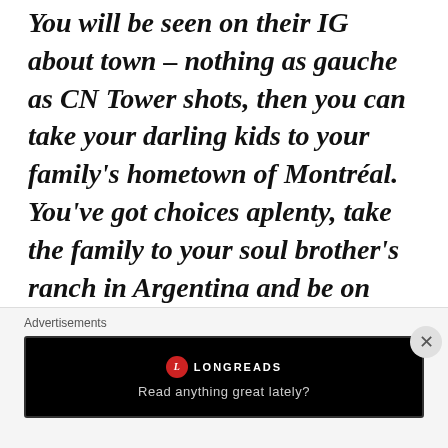You will be seen on their IG about town – nothing as gauche as CN Tower shots, then you can take your darling kids to your family's hometown of Montréal. You've got choices aplenty, take the family to your soul brother's ranch in Argentina and be on their IG, practising polo whilst the Cambridges are in America; this is the only fitting response to their arse-tearing crassness in the placement of the blackamoor brooch-
Advertisements
[Figure (other): Longreads advertisement banner with logo and tagline 'Read anything great lately?']